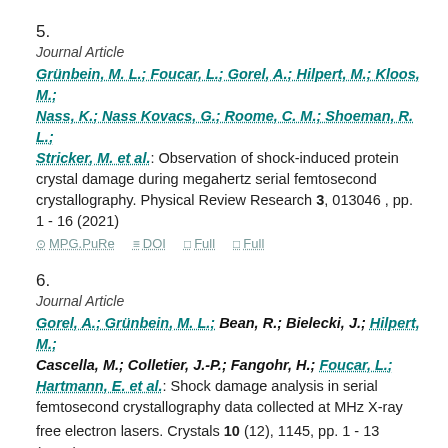5.
Journal Article
Grünbein, M. L.; Foucar, L.; Gorel, A.; Hilpert, M.; Kloos, M.; Nass, K.; Nass Kovacs, G.; Roome, C. M.; Shoeman, R. L.; Stricker, M. et al.: Observation of shock-induced protein crystal damage during megahertz serial femtosecond crystallography. Physical Review Research 3, 013046 , pp. 1 - 16 (2021)
MPG.PuRe   DOI   Full   Full
6.
Journal Article
Gorel, A.; Grünbein, M. L.; Bean, R.; Bielecki, J.; Hilpert, M.; Cascella, M.; Colletier, J.-P.; Fangohr, H.; Foucar, L.; Hartmann, E. et al.: Shock damage analysis in serial femtosecond crystallography data collected at MHz X-ray free electron lasers. Crystals 10 (12), 1145, pp. 1 - 13 (2020)